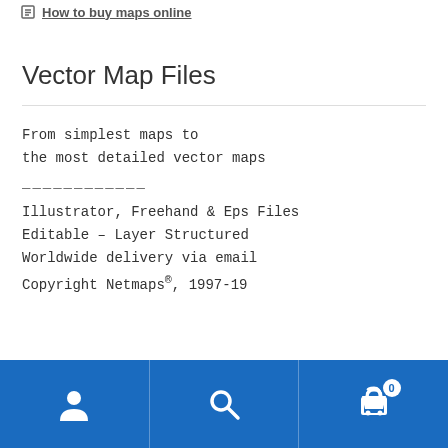How to buy maps online
Vector Map Files
From simplest maps to
the most detailed vector maps
____________
Illustrator, Freehand & Eps Files
Editable – Layer Structured
Worldwide delivery via email
Copyright Netmaps®, 1997-19
Maps Cloud